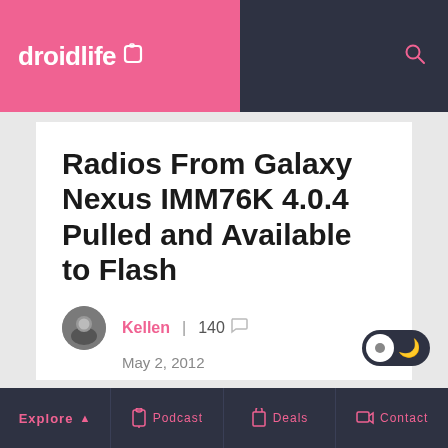droidlife
Radios From Galaxy Nexus IMM76K 4.0.4 Pulled and Available to Flash
Kellen | 140  May 2, 2012
Share  0  13
We may earn a commission when you click links to retailers and purchase goods. More info.
Explore  Podcast  Deals  Contact